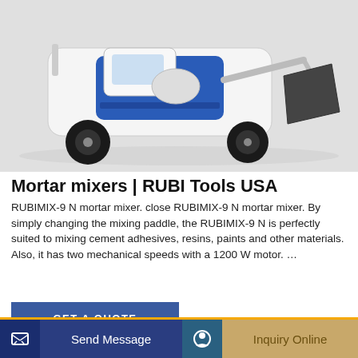[Figure (photo): Blue and white self-loading concrete mixer / mortar mixer vehicle with a large front bucket, photographed on a white/grey background.]
Mortar mixers | RUBI Tools USA
RUBIMIX-9 N mortar mixer. close RUBIMIX-9 N mortar mixer. By simply changing the mixing paddle, the RUBIMIX-9 N is perfectly suited to mixing cement adhesives, resins, paints and other materials. Also, it has two mechanical speeds with a 1200 W motor. …
[Figure (screenshot): Yellow/orange background section showing a white and blue cement mixer drum, partially visible, with bottom navigation bar showing 'Send Message' and 'Inquiry Online' buttons.]